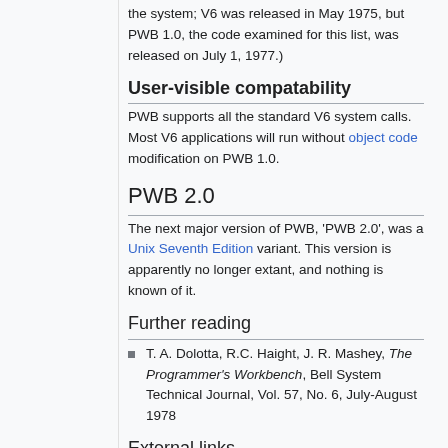the system; V6 was released in May 1975, but PWB 1.0, the code examined for this list, was released on July 1, 1977.)
User-visible compatability
PWB supports all the standard V6 system calls. Most V6 applications will run without object code modification on PWB 1.0.
PWB 2.0
The next major version of PWB, 'PWB 2.0', was a Unix Seventh Edition variant. This version is apparently no longer extant, and nothing is known of it.
Further reading
T. A. Dolotta, R.C. Haight, J. R. Mashey, The Programmer's Workbench, Bell System Technical Journal, Vol. 57, No. 6, July-August 1978
External links